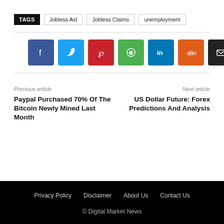TAGS  Jobless Aid  Jobless Claims  unemployment
[Figure (infographic): Social share buttons: Facebook, Twitter, Pinterest, WhatsApp, LinkedIn, Reddit, Email, Plus]
Previous article
Paypal Purchased 70% Of The Bitcoin Newly Mined Last Month
Next article
US Dollar Future: Forex Predictions And Analysis
Privacy Policy  Disclaimer  About Us  Contact Us
© Digital Market News